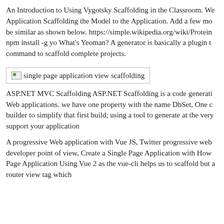An Introduction to Using Vygotsky Scaffolding in the Classroom. We Application Scaffolding the Model to the Application. Add a few mo be similar as shown below. https://simple.wikipedia.org/wiki/Protein npm install -g yo What's Yeoman? A generator is basically a plugin t command to scaffold complete projects.
[Figure (other): Broken/placeholder image with alt text 'single page application view scaffolding']
ASP.NET MVC Scaffolding ASP.NET Scaffolding is a code generati Web applications. we have one property with the name DbSet, One c builder to simplify that first build; using a tool to generate at the very support your application
A progressive Web application with Vue JS, Twitter progressive web developer point of view, Create a Single Page Application with How Page Application Using Vue 2 as the vue-cli helps us to scaffold but a router view tag which